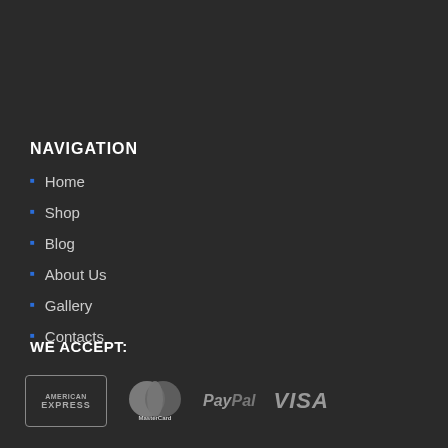NAVIGATION
Home
Shop
Blog
About Us
Gallery
Contacts
WE ACCEPT:
[Figure (logo): Payment method logos: American Express, MasterCard, PayPal, VISA]